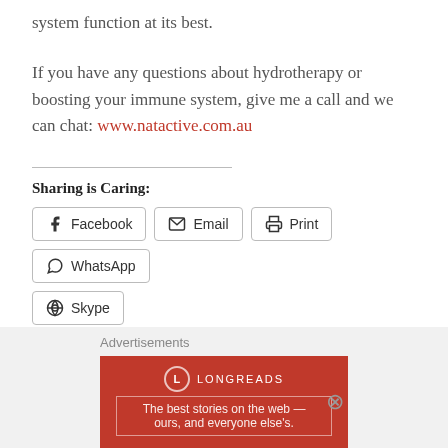system function at its best.
If you have any questions about hydrotherapy or boosting your immune system, give me a call and we can chat: www.natactive.com.au
Sharing is Caring:
[Figure (other): Social share buttons: Facebook, Email, Print, WhatsApp, Skype]
[Figure (other): Like button with star icon, and a small blogger avatar thumbnail. Text: One blogger likes this.]
Advertisements
[Figure (other): Longreads advertisement banner: dark red background with Longreads logo and text 'The best stories on the web — ours, and everyone else's.']